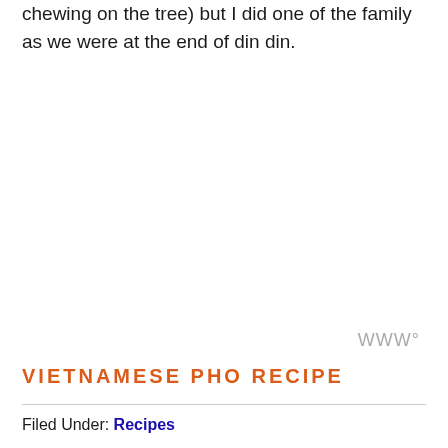chewing on the tree) but I did one of the family as we were at the end of din din.
[Figure (other): Watermark or logo mark consisting of stylized 'W' letters in light gray followed by a small superscript circle]
VIETNAMESE PHO RECIPE
Filed Under: Recipes